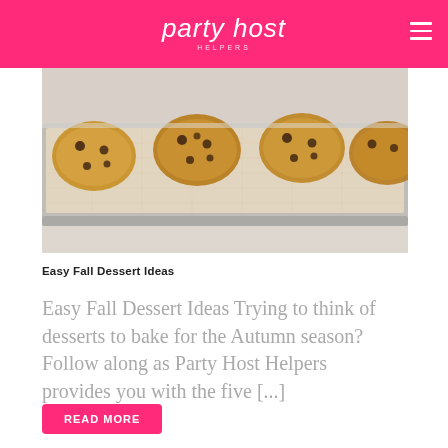party host helpers
[Figure (photo): Chocolate chip cookies on a baking sheet with silicone mat, viewed from above at an angle, on a marble surface.]
Easy Fall Dessert Ideas
Easy Fall Dessert Ideas Trying to think of desserts to bake for the Autumn season? Follow along as Party Host Helpers provides you with the five [...]